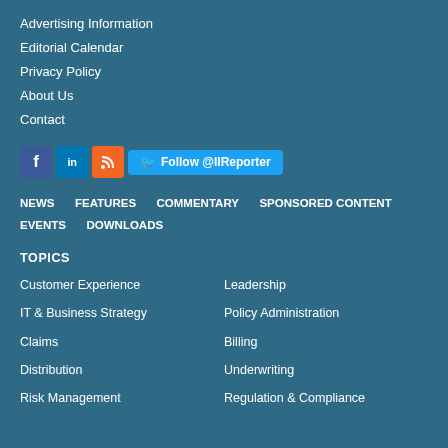Advertising Information
Editorial Calendar
Privacy Policy
About Us
Contact
[Figure (infographic): Social media icons: Facebook, LinkedIn, RSS, and a Twitter Follow @IIReporter button]
NEWS
FEATURES
COMMENTARY
SPONSORED CONTENT
EVENTS
DOWNLOADS
TOPICS
Customer Experience
Leadership
IT & Business Strategy
Policy Administration
Claims
Billing
Distribution
Underwriting
Risk Management
Regulation & Compliance